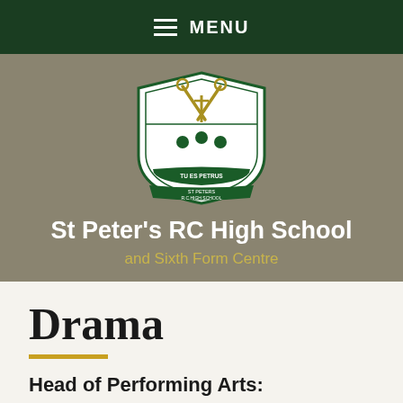MENU
[Figure (logo): St Peter's RC High School shield crest with crossed keys, shamrocks, and motto 'TU ES PETRUS']
St Peter's RC High School
and Sixth Form Centre
Drama
Head of Performing Arts: